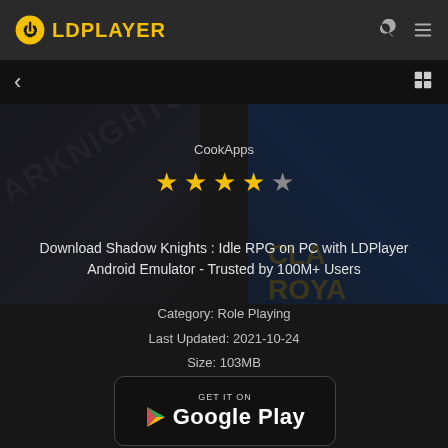[Figure (screenshot): LDPlayer website screenshot showing Shadow Knights Idle RPG app page with publisher CookApps, 4-star rating, download description, category Role Playing, last updated 2021-10-24, size 103MB, current version 28, and Google Play badge at bottom]
CookApps
★★★★☆
Download Shadow Knights : Idle RPG on PC with LDPlayer Android Emulator - Trusted by 100M+ Users
Category: Role Playing
Last Updated: 2021-10-24
Size: 103MB
Current Version: 28
GET IT ON Google Play